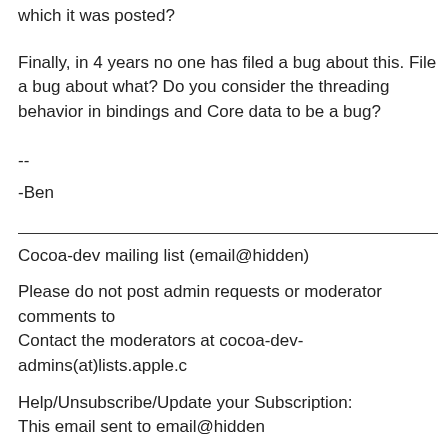which it was posted?
Finally, in 4 years no one has filed a bug about this. File a bug about what? Do you consider the threading behavior in bindings and Core data to be a bug?
--
-Ben
Cocoa-dev mailing list (email@hidden)
Please do not post admin requests or moderator comments to
Contact the moderators at cocoa-dev-admins(at)lists.apple.c
Help/Unsubscribe/Update your Subscription:
This email sent to email@hidden
Follow-up...